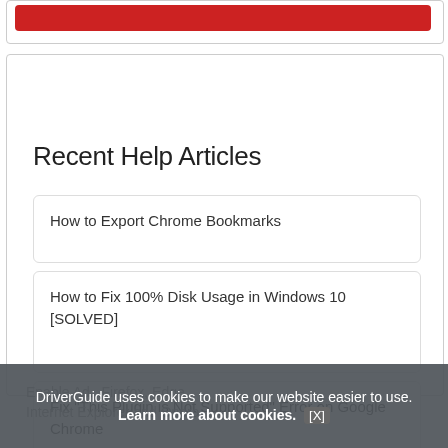[Figure (screenshot): Red button/bar at top of page inside a bordered box]
Recent Help Articles
How to Export Chrome Bookmarks
How to Fix 100% Disk Usage in Windows 10 [SOLVED]
Fix "This Plugin is Not Supported" Error on Google Chrome
Enable Ad... Firefox, Edge, Internet Explorer and Opera
DriverGuide uses cookies to make our website easier to use. Learn more about cookies. [X]